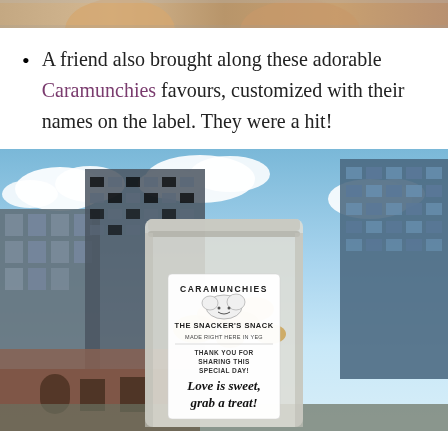[Figure (photo): Top cropped photo strip showing what appears to be faces/people, partially visible at top of page]
A friend also brought along these adorable Caramunchies favours, customized with their names on the label. They were a hit!
[Figure (photo): Photo of a Caramunchies snack bag held up against a city skyline backdrop with blue sky and clouds. The bag label reads: CARAMUNCHIES, THE SNACKER'S SNACK, MADE RIGHT HERE IN YEG, THANK YOU FOR SHARING THIS SPECIAL DAY!, Love is sweet, grab a treat!]